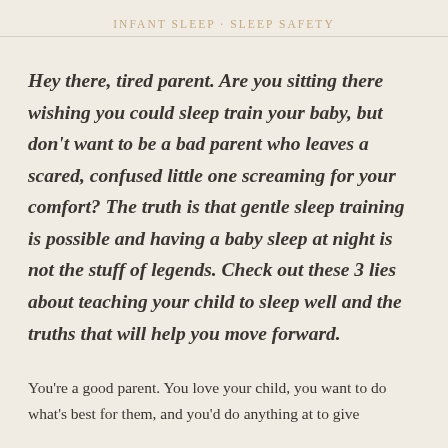INFANT SLEEP · SLEEP SAFETY
Hey there, tired parent. Are you sitting there wishing you could sleep train your baby, but don't want to be a bad parent who leaves a scared, confused little one screaming for your comfort? The truth is that gentle sleep training is possible and having a baby sleep at night is not the stuff of legends. Check out these 3 lies about teaching your child to sleep well and the truths that will help you move forward.
You're a good parent. You love your child, you want to do what's best for them, and you'd do anything at to give